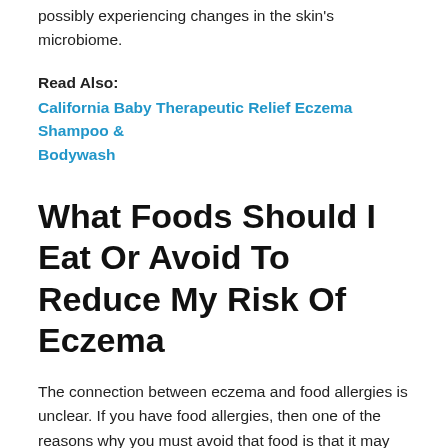possibly experiencing changes in the skin's microbiome.
Read Also:
California Baby Therapeutic Relief Eczema Shampoo & Bodywash
What Foods Should I Eat Or Avoid To Reduce My Risk Of Eczema
The connection between eczema and food allergies is unclear. If you have food allergies, then one of the reasons why you must avoid that food is that it may cause or worsen dermatitis. Examples of common allergies include peanuts, dairy, eggs, sugar, alcohol and gluten. Pay attention to what you eat. If your eczema flares up after you eat a certain food, then you might have an allergy to it.